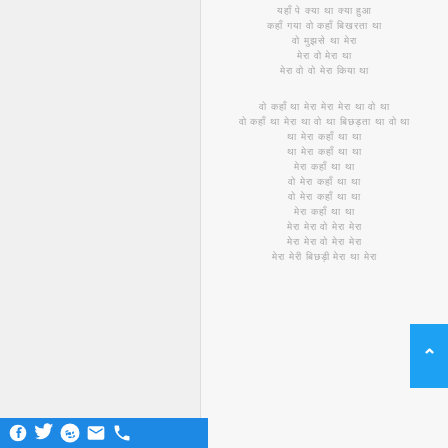Hindi poem lines (Devanagari script)